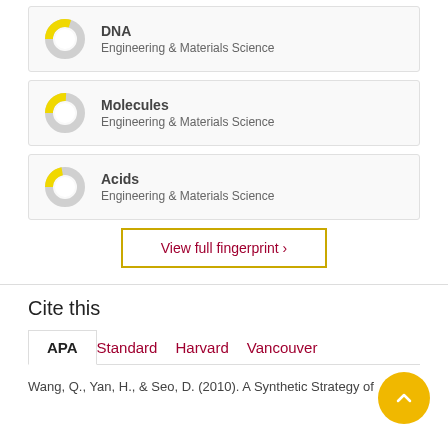[Figure (donut-chart): Donut chart showing partial fill, grey and yellow, representing DNA relevance score]
DNA
Engineering & Materials Science
[Figure (donut-chart): Donut chart showing partial fill, grey and yellow, representing Molecules relevance score]
Molecules
Engineering & Materials Science
[Figure (donut-chart): Donut chart showing partial fill, grey and yellow, representing Acids relevance score]
Acids
Engineering & Materials Science
View full fingerprint ›
Cite this
APA   Standard   Harvard   Vancouver
Wang, Q., Yan, H., & Seo, D. (2010). A Synthetic Strategy of